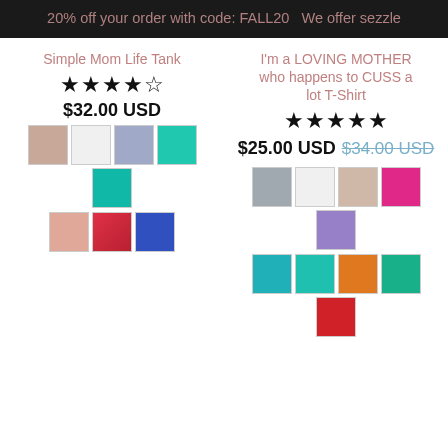20% off your order with code: FALL20   We offer sezzle
Simple Mom Life Tank
★★★★☆ $32.00 USD
I'm a LOVING MOTHER who happens to CUSS a lot T-Shirt
★★★★★ $25.00 USD $34.00 USD